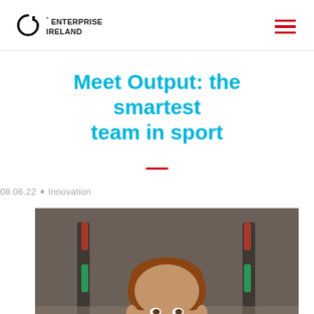Enterprise Ireland
Meet Output: the smartest team in sport
08.06.22 • Innovation
[Figure (photo): Portrait photo of a smiling man with reddish-brown hair and beard, wearing a white t-shirt, photographed in a gym or sports facility with equipment visible in the background.]